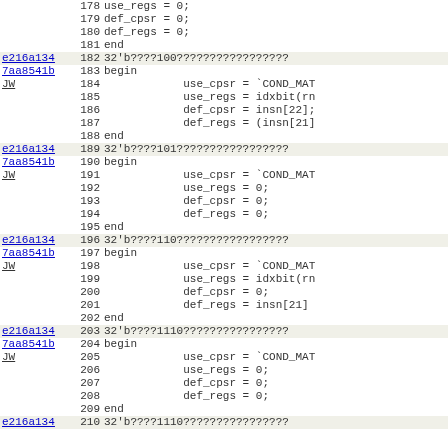Source code view with line numbers and commit hashes, showing Verilog/HDL code lines 178-210